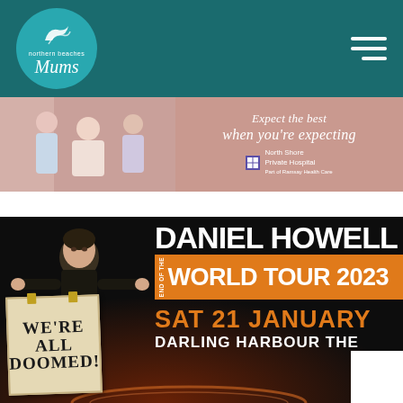[Figure (logo): Northern Beaches Mums logo - circular teal logo with wave/bird icon and stylized 'Mums' text]
[Figure (infographic): North Shore Private Hospital advertisement banner - 'Expect the best when you're expecting' with hospital logo and photo of people in hospital room]
[Figure (infographic): Daniel Howell End of the World Tour 2023 event poster - black background, person holding sign saying WE'RE ALL DOOMED!, large white text DANIEL HOWELL, orange banner WORLD TOUR 2023, orange text SAT 21 JANUARY, white text DARLING HARBOUR THE[ATRE]]